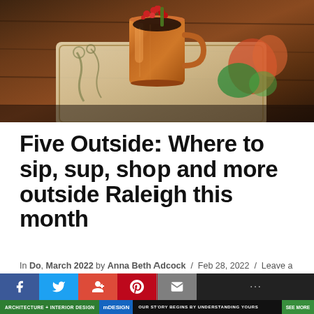[Figure (photo): A copper mug cocktail with red berries and garnish sitting on a decorative illustrated tray with colorful floral/ornate designs, on a dark wooden surface]
Five Outside: Where to sip, sup, shop and more outside Raleigh this month
In Do, March 2022 by Anna Beth Adcock / Feb 28, 2022 / Leave a Comment
[Figure (screenshot): Social media sharing bar with Facebook, Twitter, Google Plus, Pinterest, Email, and other buttons]
ARCHITECTURE + INTERIOR DESIGN   [m] DESIGN   OUR STORY BEGINS BY UNDERSTANDING YOURS   SEE MORE